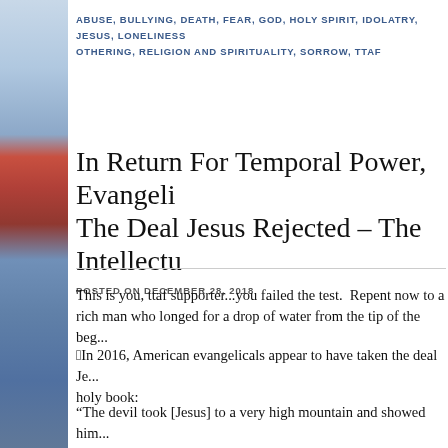ABUSE, BULLYING, DEATH, FEAR, GOD, HOLY SPIRIT, IDOLATRY, JESUS, LONELINESS, OTHERING, RELIGION AND SPIRITUALITY, SORROW, TTAF
In Return For Temporal Power, Evangelicals Take The Deal Jesus Rejected – The Intellectual...
POSTED ON DECEMBER 28, 2018
This is you, ttaf supporter...you failed the test.  Repent now to a rich man who longed for a drop of water from the tip of the beg...
In 2016, American evangelicals appear to have taken the deal Je... holy book:
“The devil took [Jesus] to a very high mountain and showed him... world and their splendor. “All this I will give you,” he said, “if y... worship me” (KJV Matthew 4:8-9).Jesus said to him, “Away fro...